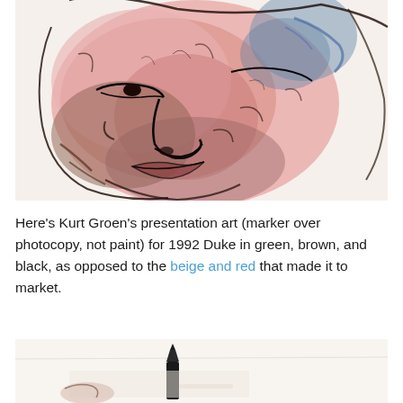[Figure (illustration): Close-up illustration of a man's face rendered in marker over photocopy with pink/rose, blue, brown, and black tones. The figure shows a heavy-set face with dark outlines and textured coloring.]
Here's Kurt Groen's presentation art (marker over photocopy, not paint) for 1992 Duke in green, brown, and black, as opposed to the beige and red that made it to market.
[Figure (photo): Partial photo showing a black marker and what appears to be artwork or photocopy paper, cropped at the bottom of the page.]